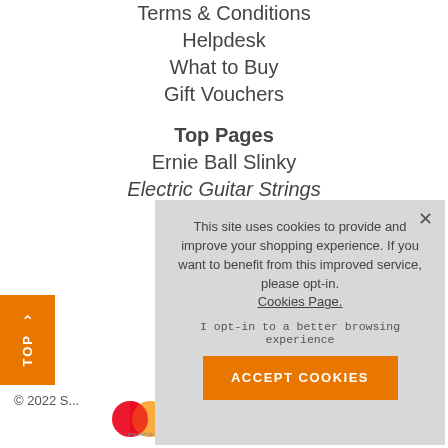Terms & Conditions
Helpdesk
What to Buy
Gift Vouchers
Top Pages
Ernie Ball Slinky
Electric Guitar Strings
↑ TOP
© 2022 S...
[Figure (logo): Mastercard logo]
This site uses cookies to provide and improve your shopping experience. If you want to benefit from this improved service, please opt-in. Cookies Page. I opt-in to a better browsing experience ACCEPT COOKIES